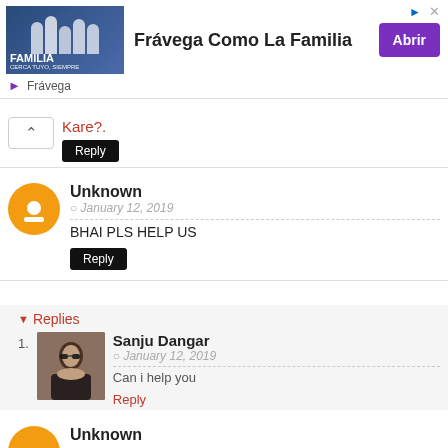[Figure (screenshot): Advertisement banner for Frávega Como La Familia with image, text, and Abrir button]
Kare?.
Reply
Unknown
January 12, 2019
BHAI PLS HELP US
Reply
Replies
Sanju Dangar
January 12, 2019
Can i help you
Reply
Unknown